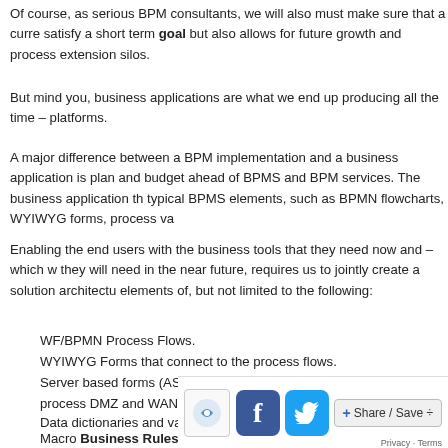Of course, as serious BPM consultants, we will also must make sure that a curre... satisfy a short term goal but also allows for future growth and process extension... silos.
But mind you, business applications are what we end up producing all the time – platforms.
A major difference between a BPM implementation and a business application is... plan and budget ahead of BPMS and BPM services. The business application th... typical BPMS elements, such as BPMN flowcharts, WYIWYG forms, process va...
Enabling the end users with the business tools that they need now and –which w... they will need in the near future, requires us to jointly create a solution architectu... elements of, but not limited to the following:
WF/BPMN Process Flows.
WYIWYG Forms that connect to the process flows.
Server based forms (ASPX, JSP, PHP and such) that connect to the process... DMZ and WAN.
Data dictionaries and variable libraries (to be universally reutilized).
Macro Business Rules (programmed or designed within a BRE...
Edible Micro Business Rules (calcula... s... s... Procedures).